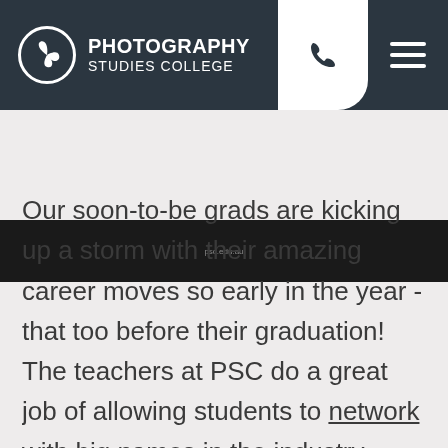PHOTOGRAPHY STUDIES COLLEGE
[Figure (screenshot): Dark banner strip at top of page content area]
Our soon-to-be grads are kicking up a storm with their amazing career moves so early in the year - that too before their graduation! The teachers at PSC do a great job of allowing students to network with big names in the industry, locally and internationally, with utmost confidence in their students' high quality work. With the numerous exhibition opportunities lined up for those in their final year at PSC, students are given a strong foundation in creating a brand for themselves working with studios, managing...